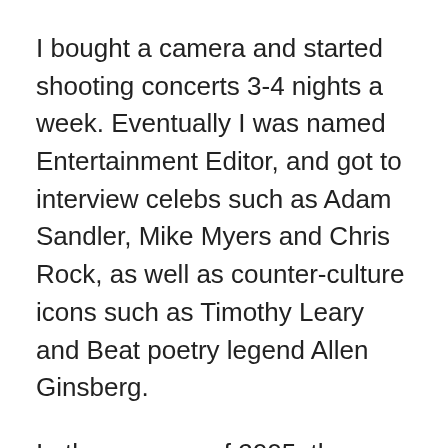I bought a camera and started shooting concerts 3-4 nights a week. Eventually I was named Entertainment Editor, and got to interview celebs such as Adam Sandler, Mike Myers and Chris Rock, as well as counter-culture icons such as Timothy Leary and Beat poetry legend Allen Ginsberg.
In the summer of 2005, the paper finally hired me full-time, working 50 hours a week for $18,000 a year. I didn't care about the money.
The more writing I did, the more PR reps I connected with, the more people saw my